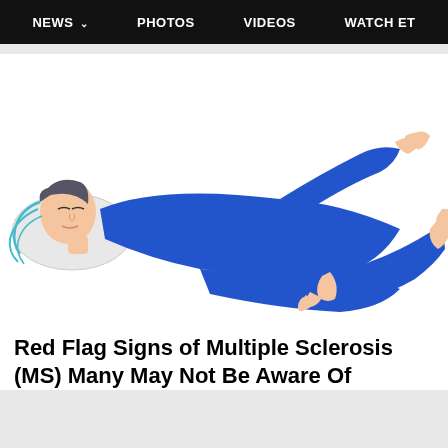NEWS  PHOTOS  VIDEOS  WATCH ET
[Figure (illustration): Cartoon illustration of a person in blue clothing lying on their back with arms and legs raised, appearing to have muscle spasms or loss of control, depicting a symptom of Multiple Sclerosis]
Red Flag Signs of Multiple Sclerosis (MS) Many May Not Be Aware Of
MS | Search Ads | Sponsored